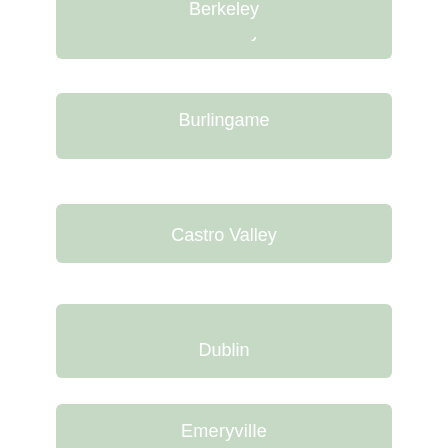Berkeley
Burlingame
Castro Valley
Dublin
Emeryville
Foster City
Fremont
Hayward
Mountain View